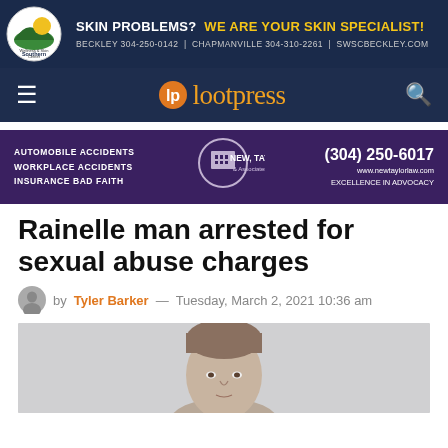[Figure (logo): Southern Wellness & Skin Center circular logo with mountain and sun graphic]
SKIN PROBLEMS?  WE ARE YOUR SKIN SPECIALIST!
BECKLEY 304-250-0142  |  CHAPMANVILLE 304-310-2261  |  SWSCBECKLEY.COM
lootpress
[Figure (logo): New, Taylor & Associates law firm advertisement banner: AUTOMOBILE ACCIDENTS WORKPLACE ACCIDENTS INSURANCE BAD FAITH | NEW, TAYLOR & Associates | (304) 250-6017 www.newtaylorlaw.com EXCELLENCE IN ADVOCACY]
Rainelle man arrested for sexual abuse charges
by Tyler Barker — Tuesday, March 2, 2021 10:36 am
[Figure (photo): Mugshot photo of a man with brown hair against a light gray wall]